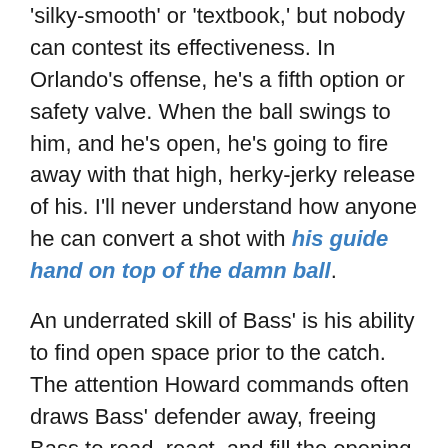'silky-smooth' or 'textbook,' but nobody can contest its effectiveness. In Orlando's offense, he's a fifth option or safety valve. When the ball swings to him, and he's open, he's going to fire away with that high, herky-jerky release of his. I'll never understand how anyone he can convert a shot with his guide hand on top of the damn ball.
An underrated skill of Bass' is his ability to find open space prior to the catch. The attention Howard commands often draws Bass' defender away, freeing Bass to read, react, and fill the opening in the defense to make himself available. The high screen-and-roll with Howard and any Magic ballhandler will produce an open look for Bass almost every time. Opposing defenses, even the best ones, can't take everything away.